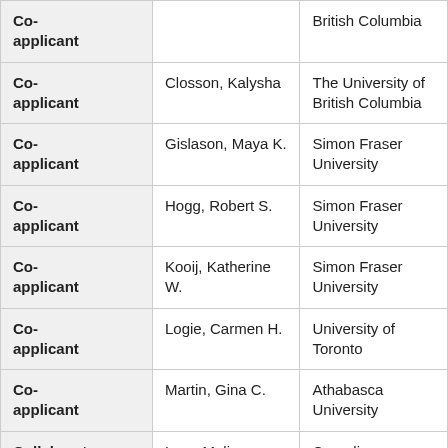| Role | Name | Institution |
| --- | --- | --- |
| Co-applicant |  | British Columbia |
| Co-applicant | Closson, Kalysha | The University of British Columbia |
| Co-applicant | Gislason, Maya K. | Simon Fraser University |
| Co-applicant | Hogg, Robert S. | Simon Fraser University |
| Co-applicant | Kooij, Katherine W. | Simon Fraser University |
| Co-applicant | Logie, Carmen H. | University of Toronto |
| Co-applicant | Martin, Gina C. | Athabasca University |
| Collaborator | Lem, Melissa | Canadian Association of... |